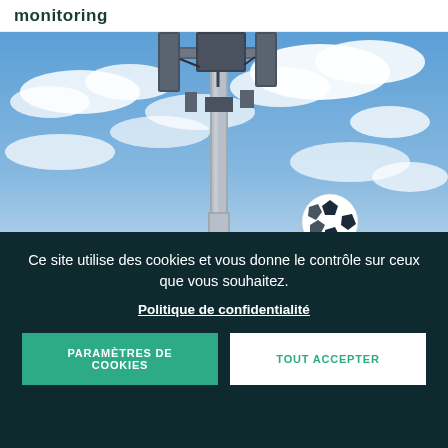monitoring
[Figure (photo): Upward-looking photo of a telecommunications tower/mast with antennas and equipment mounted at the top, against a partly cloudy blue sky. A soccer ball is visible in the lower right portion of the image.]
Ce site utilise des cookies et vous donne le contrôle sur ceux que vous souhaitez.
Politique de confidentialité
PARAMÈTRES DE COOKIES
TOUT ACCEPTER